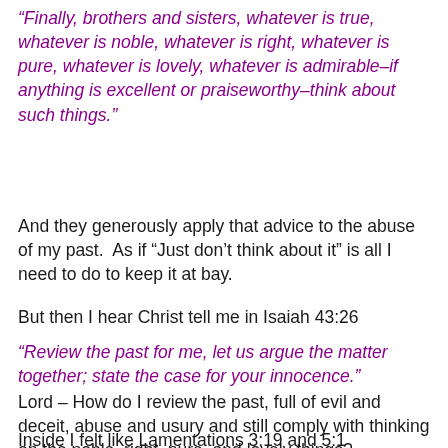“Finally, brothers and sisters, whatever is true, whatever is noble, whatever is right, whatever is pure, whatever is lovely, whatever is admirable–if anything is excellent or praiseworthy–think about such things.”
And they generously apply that advice to the abuse of my past.  As if “Just don’t think about it” is all I need to do to keep it at bay.
But then I hear Christ tell me in Isaiah 43:26
“Review the past for me, let us argue the matter together; state the case for your innocence.”
Lord – How do I review the past, full of evil and deceit, abuse and usury and still comply with thinking on the noble, right, pure, and lovely things?
Inside I felt like Lamentations 3:19 and 5:1